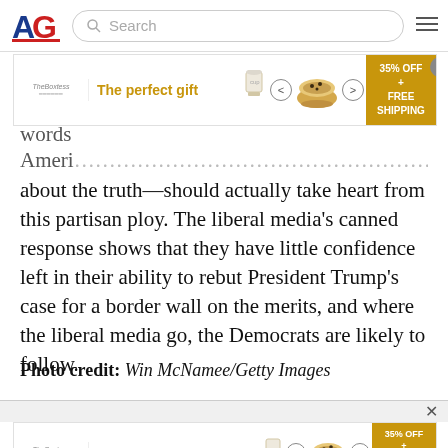AG [logo] Search [hamburger menu]
[Figure (other): Advertisement banner: 'The perfect gift' with bowl of grains, 35% OFF + FREE SHIPPING]
words
Ameri... care about the truth—should actually take heart from this partisan ploy. The liberal media's canned response shows that they have little confidence left in their ability to rebut President Trump's case for a border wall on the merits, and where the liberal media go, the Democrats are likely to follow.
Photo credit: Win McNamee/Getty Images
[Figure (other): Advertisement banner at bottom: 'The perfect gift' with bowl of grains, 35% OFF + FREE SHIPPING]